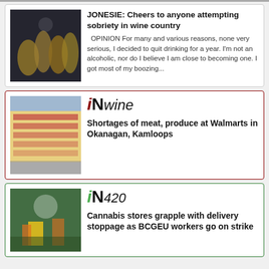[Figure (photo): People clinking champagne glasses at a celebration]
JONESIE: Cheers to anyone attempting sobriety in wine country
OPINION For many and various reasons, none very serious, I decided to quit drinking for a year. I'm not an alcoholic, nor do I believe I am close to becoming one. I got most of my boozing...
[Figure (photo): Empty shelves in a Walmart store]
[Figure (logo): iNwine logo]
Shortages of meat, produce at Walmarts in Okanagan, Kamloops
[Figure (photo): People with a sign at a cannabis-related rally]
[Figure (logo): iN420 logo]
Cannabis stores grapple with delivery stoppage as BCGEU workers go on strike